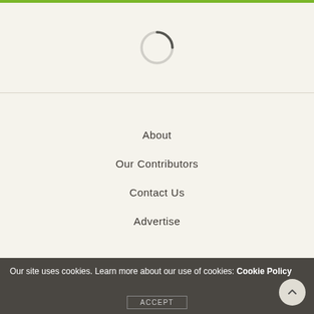[Figure (other): Loading spinner circle, partially filled gray arc on light background]
About
Our Contributors
Contact Us
Advertise
Voice of the River Valley
Our site uses cookies. Learn more about our use of cookies: Cookie Policy
ACCEPT